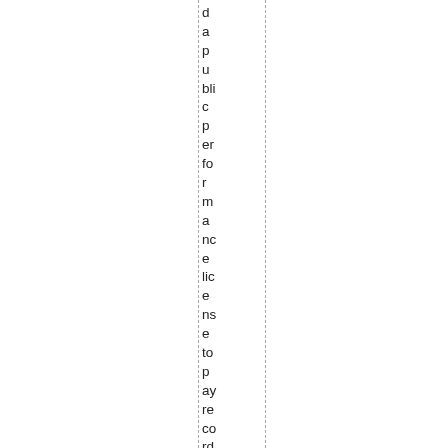d a p u blic p er fo r m a nc e lic e ns e to p ay re co rd e d m us ic.